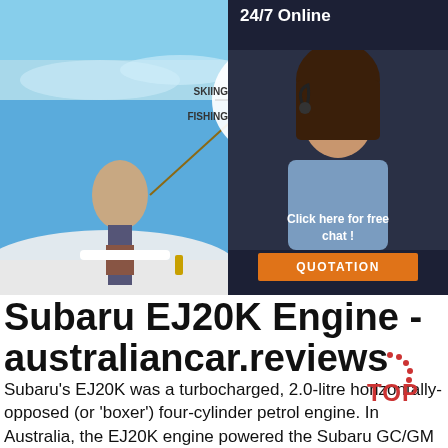[Figure (photo): Top collage of outdoor lifestyle photos: skiing/water sports top row, man fishing on boat bottom-left, car interior door bottom-right. Circle menu with SKIING, SURFING, FISHING, DRIVE labels in center. 24/7 Online chat agent panel on right with woman wearing headset.]
Subaru EJ20K Engine - australiancar.reviews
Subaru's EJ20K was a turbocharged, 2.0-litre horizontally-opposed (or 'boxer') four-cylinder petrol engine. In Australia, the EJ20K engine powered the Subaru GC/GM Impreza WRX from November 1996 (for the 1997 model year or MY97) to 1998. For the Subaru